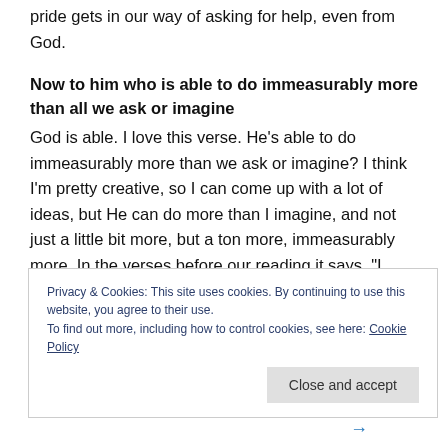pride gets in our way of asking for help, even from God.
Now to him who is able to do immeasurably more than all we ask or imagine
God is able. I love this verse. He’s able to do immeasurably more than we ask or imagine? I think I’m pretty creative, so I can come up with a lot of ideas, but He can do more than I imagine, and not just a little bit more, but a ton more, immeasurably more. In the verses before our reading it says, “I pray that out of his glorious riches he may strengthen you with power through his Spirit in your
Privacy & Cookies: This site uses cookies. By continuing to use this website, you agree to their use.
To find out more, including how to control cookies, see here: Cookie Policy